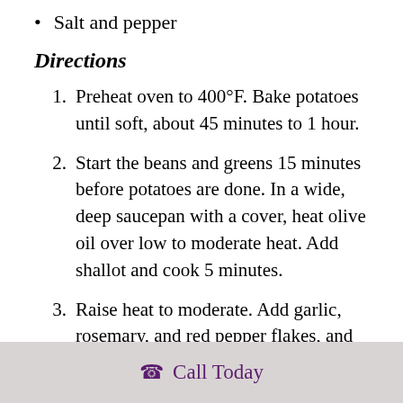Salt and pepper
Directions
Preheat oven to 400°F. Bake potatoes until soft, about 45 minutes to 1 hour.
Start the beans and greens 15 minutes before potatoes are done. In a wide, deep saucepan with a cover, heat olive oil over low to moderate heat. Add shallot and cook 5 minutes.
Raise heat to moderate. Add garlic, rosemary, and red pepper flakes, and cook, stirring, for 1 minute.
Call Today